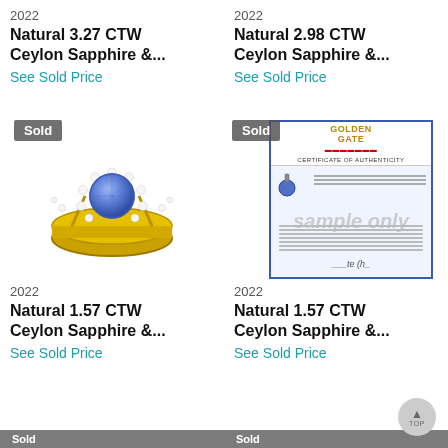2022
Natural 3.27 CTW Ceylon Sapphire &...
See Sold Price
2022
Natural 2.98 CTW Ceylon Sapphire &...
See Sold Price
[Figure (photo): Gold ring with blue sapphire center stone surrounded by diamond halo, yellow gold band with split shank, 'Sold' badge overlay]
[Figure (photo): Certificate of Authenticity from Golden Gate, showing 'sample only' watermark, blue border, with small sapphire pendant image, 'Sold' badge overlay]
2022
Natural 1.57 CTW Ceylon Sapphire &...
See Sold Price
2022
Natural 1.57 CTW Ceylon Sapphire &...
See Sold Price